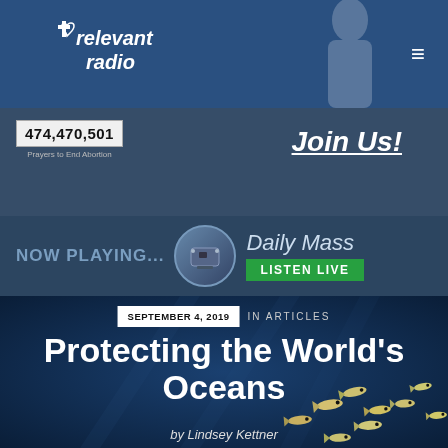relevant radio
474,470,501 Prayers to End Abortion
Join Us!
NOW PLAYING...
Daily Mass LISTEN LIVE
[Figure (photo): Underwater ocean scene with a school of fish swimming in blue water]
SEPTEMBER 4, 2019  IN ARTICLES
Protecting the World's Oceans
by Lindsey Kettner